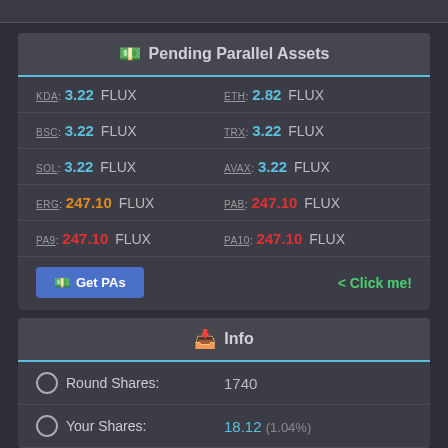Pending Parallel Assets
| Asset | Value | Asset | Value |
| --- | --- | --- | --- |
| KDA: | 3.22 FLUX | ETH: | 2.82 FLUX |
| BSC: | 3.22 FLUX | TRX: | 3.22 FLUX |
| SOL: | 3.22 FLUX | AVAX: | 3.22 FLUX |
| ERG: | 247.10 FLUX | PAB: | 247.10 FLUX |
| PA9: | 247.10 FLUX | PA10: | 247.10 FLUX |
Get PAs
< Click me!
Info
Round Shares: 1740
Your Shares: 18.12 (1.04%)